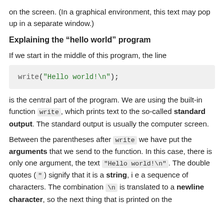on the screen. (In a graphical environment, this text may pop up in a separate window.)
Explaining the “hello world” program
If we start in the middle of this program, the line
[Figure (screenshot): Code block showing: write("Hello world!\n");]
is the central part of the program. We are using the built-in function write, which prints text to the so-called standard output. The standard output is usually the computer screen.
Between the parentheses after write we have put the arguments that we send to the function. In this case, there is only one argument, the text "Hello world!\n". The double quotes (") signify that it is a string, i e a sequence of characters. The combination \n is translated to a newline character, so the next thing that is printed on the